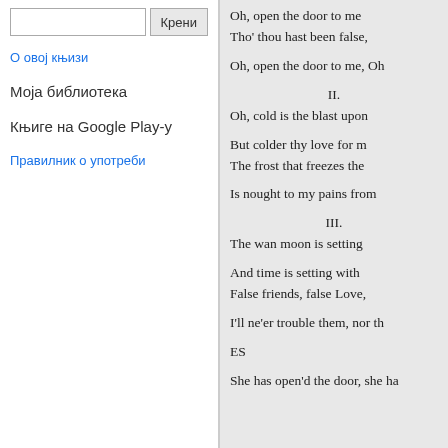Search input and Крени button
О овој књизи
Моја библиотека
Књиге на Google Play-у
Правилник о употреби
Oh, open the door to me
Tho' thou hast been false,

Oh, open the door to me, Oh

II.
Oh, cold is the blast upon

But colder thy love for m
The frost that freezes the

Is nought to my pains from

III.
The wan moon is setting

And time is setting with
False friends, false Love,

I'll ne'er trouble them, nor th

ES

She has open'd the door, she ha